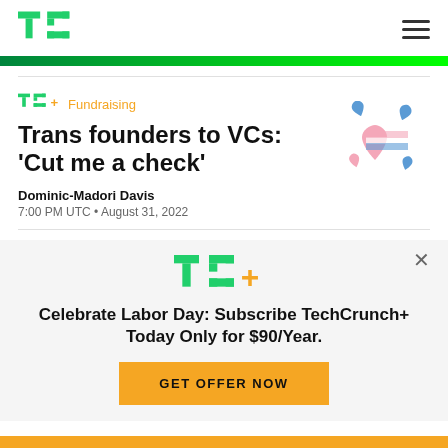TechCrunch
Trans founders to VCs: 'Cut me a check'
TC+ Fundraising
Dominic-Madori Davis
7:00 PM UTC • August 31, 2022
[Figure (illustration): Trans pride heart emoji illustration — pink and blue heart shapes with trans flag colors]
Celebrate Labor Day: Subscribe TechCrunch+ Today Only for $90/Year.
GET OFFER NOW